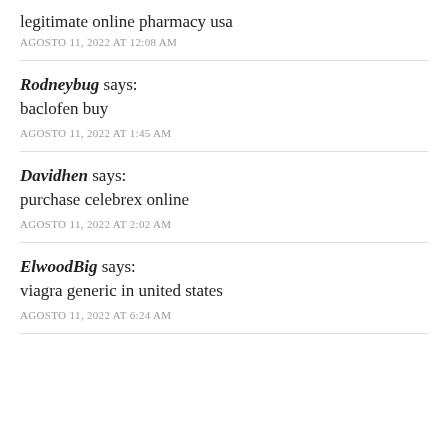legitimate online pharmacy usa
AGOSTO 11, 2022 AT 12:08 AM
Rodneybug says:
baclofen buy
AGOSTO 11, 2022 AT 1:45 AM
Davidhen says:
purchase celebrex online
AGOSTO 11, 2022 AT 2:02 AM
ElwoodBig says:
viagra generic in united states
AGOSTO 11, 2022 AT 6:24 AM